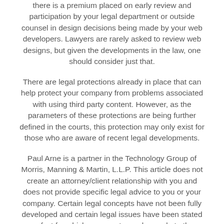there is a premium placed on early review and participation by your legal department or outside counsel in design decisions being made by your web developers. Lawyers are rarely asked to review web designs, but given the developments in the law, one should consider just that.
There are legal protections already in place that can help protect your company from problems associated with using third party content. However, as the parameters of these protections are being further defined in the courts, this protection may only exist for those who are aware of recent legal developments.
Paul Arne is a partner in the Technology Group of Morris, Manning & Martin, L.L.P. This article does not create an attorney/client relationship with you and does not provide specific legal advice to you or your company. Certain legal concepts have not been fully developed and certain legal issues have been stated as fact for which arguments can be made to the contrary, due to space constraints. It is provided for educational purposes only. Special thanks to En Hong for